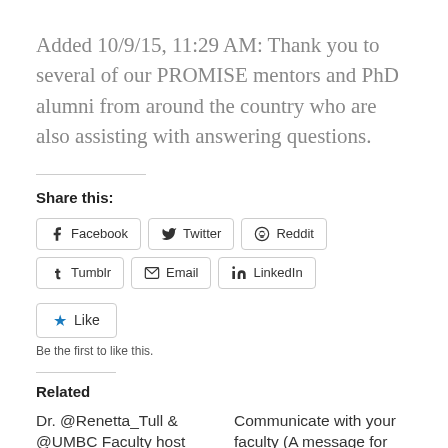Added 10/9/15, 11:29 AM: Thank you to several of our PROMISE mentors and PhD alumni from around the country who are also assisting with answering questions.
Share this:
Facebook  Twitter  Reddit  Tumblr  Email  LinkedIn
Like  Be the first to like this.
Related
Dr. @Renetta_Tull & @UMBC Faculty host #WhenFacultySayX. Oct. 20 through Oct. 21, 2017
Communicate with your faculty (A message for new and continuing grad students.)